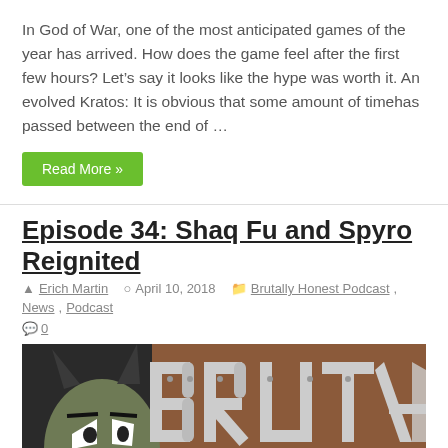In God of War, one of the most anticipated games of the year has arrived. How does the game feel after the first few hours? Let's say it looks like the hype was worth it. An evolved Kratos: It is obvious that some amount of timehas passed between the end of …
Read More »
Episode 34: Shaq Fu and Spyro Reignited
Erich Martin   April 10, 2018   Brutally Honest Podcast, News, Podcast
0
[Figure (photo): Partial logo image showing a cartoon villain face on the left and large metallic letters spelling 'BRUTA' on top and 'GAME' in green below on a dark/brown background - appears to be the Brutally Honest Games podcast logo]